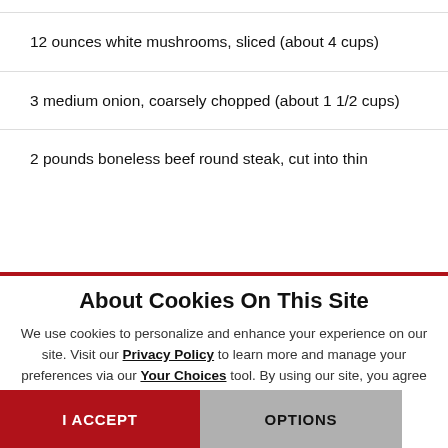12 ounces white mushrooms, sliced (about 4 cups)
3 medium onion, coarsely chopped (about 1 1/2 cups)
2 pounds boneless beef round steak, cut into thin
About Cookies On This Site
We use cookies to personalize and enhance your experience on our site. Visit our Privacy Policy to learn more and manage your preferences via our Your Choices tool. By using our site, you agree to our use of cookies.
I ACCEPT
OPTIONS